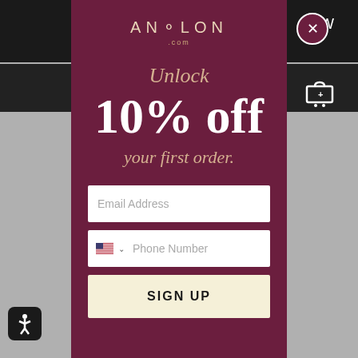[Figure (screenshot): Anolon.com website screenshot with a modal popup overlay offering 10% off first order. Background shows dark navigation bar with hamburger menu and cart icon. Modal is maroon/dark red with Anolon logo, promotional text, email and phone input fields, and a sign up button.]
ANOLON
Unlock
10% off
your first order.
Email Address
Phone Number
SIGN UP